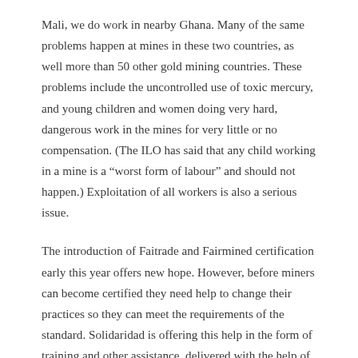Mali, we do work in nearby Ghana. Many of the same problems happen at mines in these two countries, as well more than 50 other gold mining countries. These problems include the uncontrolled use of toxic mercury, and young children and women doing very hard, dangerous work in the mines for very little or no compensation. (The ILO has said that any child working in a mine is a “worst form of labour” and should not happen.) Exploitation of all workers is also a serious issue.
The introduction of Faitrade and Fairmined certification early this year offers new hope. However, before miners can become certified they need help to change their practices so they can meet the requirements of the standard. Solidaridad is offering this help in the form of training and other assistance, delivered with the help of